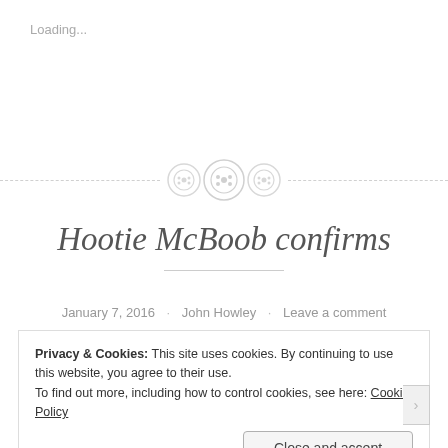Loading...
[Figure (illustration): Decorative horizontal dashed divider with three button-like circular icons in the center]
Hootie McBoob confirms
January 7, 2016 · John Howley · Leave a comment
Privacy & Cookies: This site uses cookies. By continuing to use this website, you agree to their use.
To find out more, including how to control cookies, see here: Cookie Policy
Close and accept